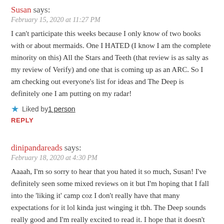Susan says:
February 15, 2020 at 11:27 PM
I can't participate this weeks because I only know of two books with or about mermaids. One I HATED (I know I am the complete minority on this) All the Stars and Teeth (that review is as salty as my review of Verify) and one that is coming up as an ARC. So I am checking out everyone's list for ideas and The Deep is definitely one I am putting on my radar!
★ Liked by 1 person
REPLY
dinipandareads says:
February 18, 2020 at 4:30 PM
Aaaah, I'm so sorry to hear that you hated it so much, Susan! I've definitely seen some mixed reviews on it but I'm hoping that I fall into the 'liking it' camp coz I don't really have that many expectations for it lol kinda just winging it tbh. The Deep sounds really good and I'm really excited to read it. I hope that it doesn't disappoint! I hope you enjoy whichever mermaid book you read next ❤